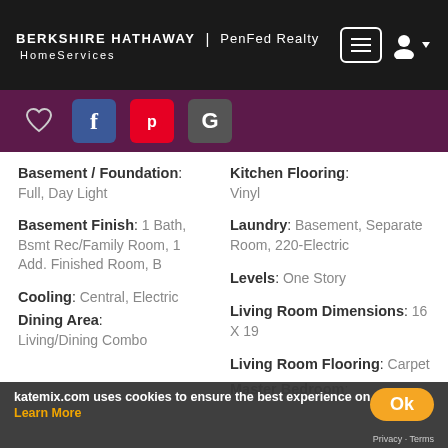BERKSHIRE HATHAWAY | PenFed Realty HomeServices
[Figure (logo): Berkshire Hathaway HomeServices PenFed Realty logo on dark header bar with menu and user icons]
[Figure (infographic): Purple social sharing bar with heart icon, Facebook (blue), Pinterest (red), Google (dark gray) buttons]
Basement / Foundation: Full, Day Light
Basement Finish: 1 Bath, Bsmt Rec/Family Room, 1 Add. Finished Room, B
Cooling: Central, Electric
Dining Area: Living/Dining Combo
Kitchen Flooring: Vinyl
Laundry: Basement, Separate Room, 220-Electric
Levels: One Story
Living Room Dimensions: 16 X 19
Living Room Flooring: Carpet
Master Bedroom:
katemix.com uses cookies to ensure the best experience on
Learn More
Ok